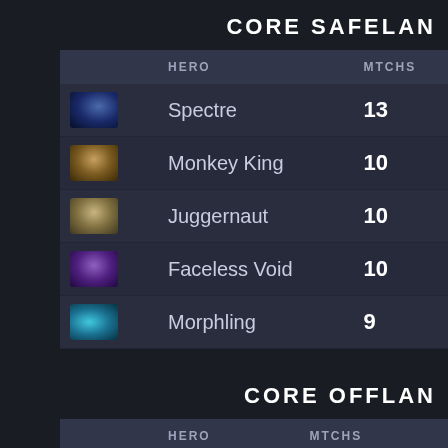CORE SAFELAN
|  | HERO | MTCHS |
| --- | --- | --- |
| [icon] | Spectre | 13 |
| [icon] | Monkey King | 10 |
| [icon] | Juggernaut | 10 |
| [icon] | Faceless Void | 10 |
| [icon] | Morphling | 9 |
CORE OFFLAN
|  | HERO | MTCHS |
| --- | --- | --- |